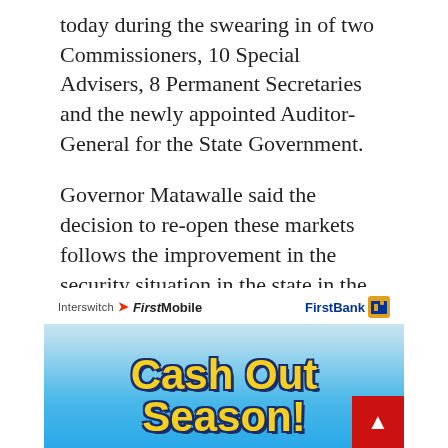today during the swearing in of two Commissioners, 10 Special Advisers, 8 Permanent Secretaries and the newly appointed Auditor-General for the State Government.
Governor Matawalle said the decision to re-open these markets follows the improvement in the security situation in the state in the last one month and the concern of the state Government to the hardship the total closure has inflicted on the local economy
[Figure (illustration): Advertisement banner for FirstBank FirstMobile featuring Interswitch logo on the left, FirstBank logo on the right, and 'Cash Out Season!' text on a blue gradient background.]